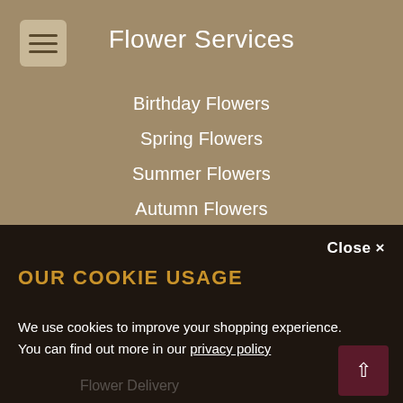Flower Services
Birthday Flowers
Spring Flowers
Summer Flowers
Autumn Flowers
Winter Flowers
Christmas Flowers
Valentine's Day
Mother's Day
OUR COOKIE USAGE
We use cookies to improve your shopping experience. You can find out more in our privacy policy
Close ×
Flower Delivery